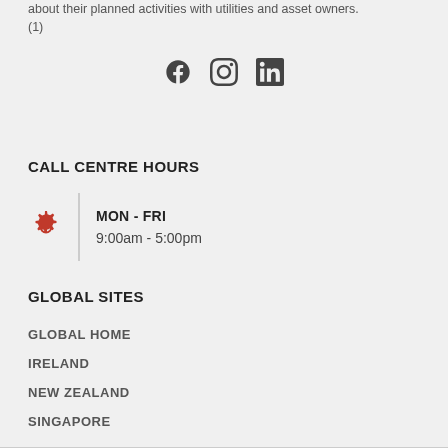about their planned activities with utilities and asset owners. (1)
[Figure (other): Social media icons: Facebook, Instagram, LinkedIn]
CALL CENTRE HOURS
MON - FRI
9:00am - 5:00pm
GLOBAL SITES
GLOBAL HOME
IRELAND
NEW ZEALAND
SINGAPORE